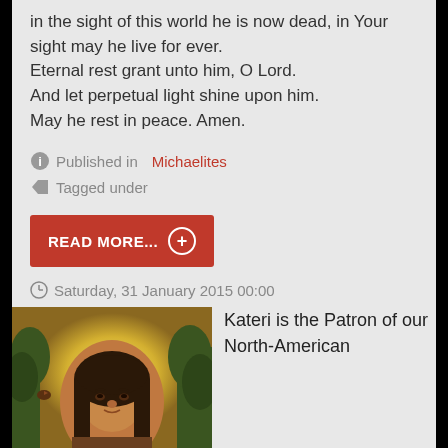in the sight of this world he is now dead, in Your sight may he live for ever.
Eternal rest grant unto him, O Lord.
And let perpetual light shine upon him.
May he rest in peace. Amen.
Published in   Michaelites
Tagged under
READ MORE... +
Saturday, 31 January 2015 00:00
[Figure (illustration): Portrait painting of Kateri Tekakwitha, a young Native American woman with long dark hair, looking upward, surrounded by trees and a halo of golden light]
Kateri is the Patron of our North-American